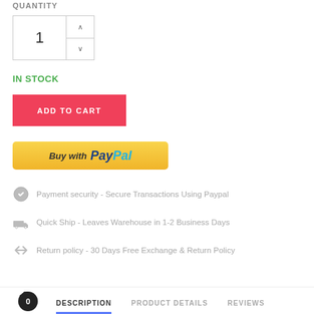QUANTITY
[Figure (screenshot): Quantity input box showing value 1 with up/down arrow controls]
IN STOCK
[Figure (screenshot): Red ADD TO CART button]
[Figure (screenshot): Yellow Buy with PayPal button]
Payment security - Secure Transactions Using Paypal
Quick Ship - Leaves Warehouse in 1-2 Business Days
Return policy - 30 Days Free Exchange & Return Policy
DESCRIPTION   PRODUCT DETAILS   REVIEWS